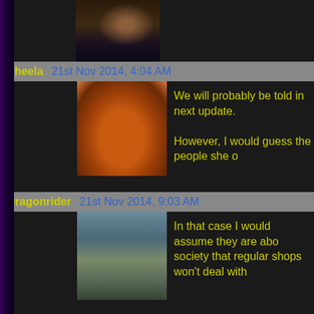[Figure (photo): Top avatar/image strip, partially visible]
Sheela   21st Nov 2014, 4:04 AM
[Figure (illustration): Sheela avatar - cartoon orange fox/dog character]
We will probably be told in next update.
However, I would guess the people she o
Dragonrider   21st Nov 2014, 9:03 AM
[Figure (photo): Dragonrider avatar - landscape/game screenshot]
In that case I would assume they are abo society that regular shops won't deal with
Centcomm   21st Nov 2014, 11:55 AM
[Figure (illustration): Centcomm avatar - purple-haired character]
Android contracts are put out by NTAS ( N humans and androids and much like CPS
But sometimes contracts get bought by ba bad. and mistakes happen.
Skweeee   20th Nov 2014, 10:49 PM
[Figure (illustration): Skweeee avatar - red background character]
Fuck yeah! That's what I'm talking about! I will r deserve. The more humiliating for them the bet